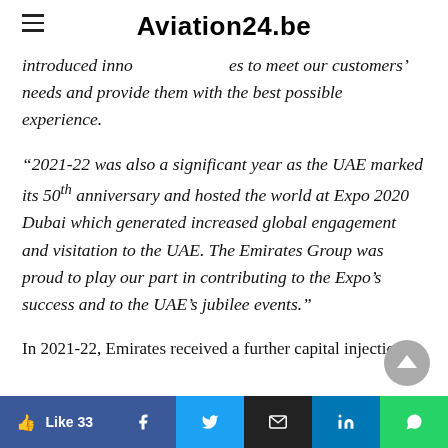Aviation24.be
introduced inno                    es to meet our customers' needs and provide them with the best possible experience.
“2021-22 was also a significant year as the UAE marked its 50th anniversary and hosted the world at Expo 2020 Dubai which generated increased global engagement and visitation to the UAE. The Emirates Group was proud to play our part in contributing to the Expo’s success and to the UAE’s jubilee events.”
In 2021-22, Emirates received a further capital injection of AED 3.5 billion (US$ 954 million) from its ultimate...
Like 33 | f | Twitter | Email | in | WhatsApp